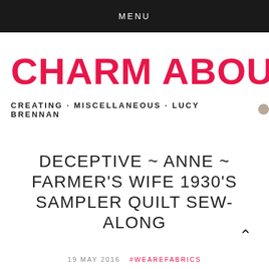MENU
CHARM ABOUT YOU
CREATING · MISCELLANEOUS · LUCY BRENNAN
DECEPTIVE ~ ANNE ~ FARMER'S WIFE 1930'S SAMPLER QUILT SEW-ALONG
19 MAY 2016   #WEAREFABRICS